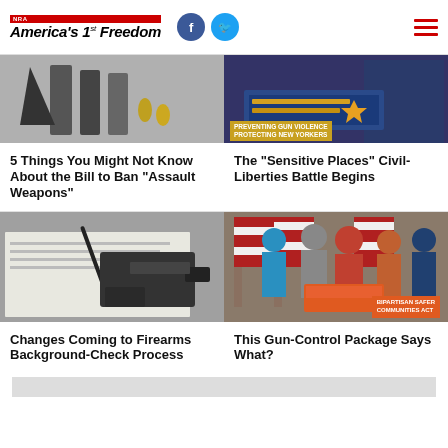NRA America's 1st Freedom
[Figure (photo): Partial image showing magazines and ammunition on gray background]
5 Things You Might Not Know About the Bill to Ban “Assault Weapons”
[Figure (photo): Photo of podium with sign reading 'Preventing Gun Violence Protecting New Yorkers']
The "Sensitive Places" Civil-Liberties Battle Begins
[Figure (photo): Black and white photo of a handgun resting on documents with a pen]
Changes Coming to Firearms Background-Check Process
[Figure (photo): Photo of politicians at a signing ceremony with 'Bipartisan Safer Communities Act' sign, American flags in background]
This Gun-Control Package Says What?
[Figure (photo): Bottom partial image strip — partially visible]